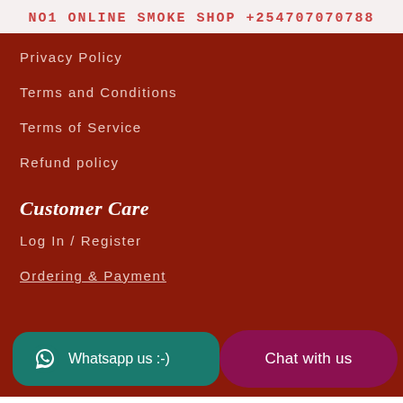NO1 ONLINE SMOKE SHOP +254707070788
Privacy Policy
Terms and Conditions
Terms of Service
Refund policy
Customer Care
Log In / Register
Ordering & Payment
Whatsapp us :-)
Chat with us